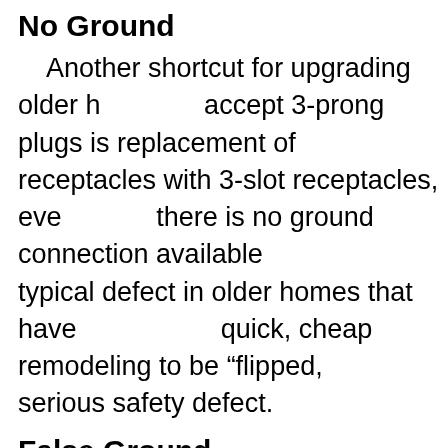No Ground
Another shortcut for upgrading older homes to accept 3-prong plugs is replacement of 2-slot receptacles with 3-slot receptacles, even when there is no ground connection available. This is a typical defect in older homes that have undergone quick, cheap remodeling to be “flipped,” and is a serious safety defect.
False Ground
Yet another shortcut to installing 3-slot receptacles in an older home is a “false ground,” where the ground slot is connected to the neutral terminal of the receptacle. Again, no gr...